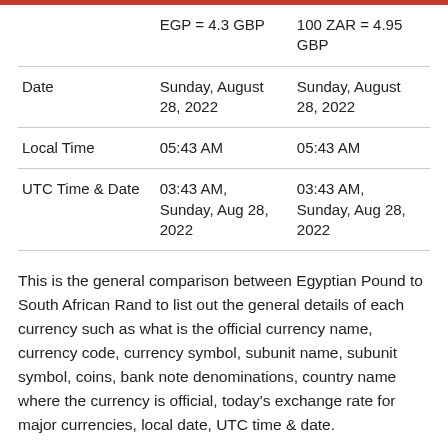|  | EGP = 4.3 GBP | 100 ZAR = 4.95 GBP |
| --- | --- | --- |
| Date | Sunday, August 28, 2022 | Sunday, August 28, 2022 |
| Local Time | 05:43 AM | 05:43 AM |
| UTC Time & Date | 03:43 AM, Sunday, Aug 28, 2022 | 03:43 AM, Sunday, Aug 28, 2022 |
This is the general comparison between Egyptian Pound to South African Rand to list out the general details of each currency such as what is the official currency name, currency code, currency symbol, subunit name, subunit symbol, coins, bank note denominations, country name where the currency is official, today's exchange rate for major currencies, local date, UTC time & date.